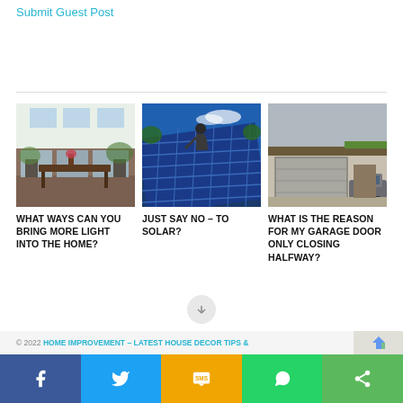Submit Guest Post
[Figure (photo): Dining room interior with large windows and skylights, wooden table and chairs, natural light]
WHAT WAYS CAN YOU BRING MORE LIGHT INTO THE HOME?
[Figure (photo): Worker installing solar panels on a roof, blue solar panels, sky background]
JUST SAY NO – TO SOLAR?
[Figure (photo): Garage with white/grey door partially open, car visible, suburban home]
WHAT IS THE REASON FOR MY GARAGE DOOR ONLY CLOSING HALFWAY?
© 2022 HOME IMPROVEMENT – LATEST HOUSE DECOR TIPS &
Facebook | Twitter | SMS | WhatsApp | Share